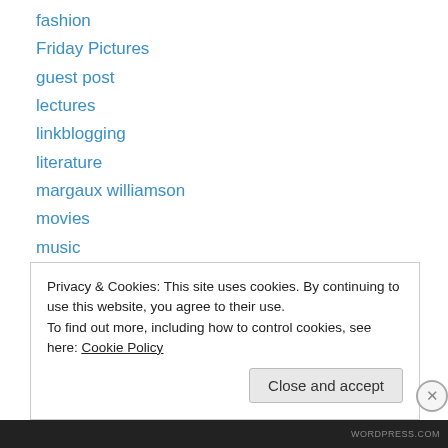fashion
Friday Pictures
guest post
lectures
linkblogging
literature
margaux williamson
movies
music
other
poetry
Tuesday Musics
TV/video
Privacy & Cookies: This site uses cookies. By continuing to use this website, you agree to their use. To find out more, including how to control cookies, see here: Cookie Policy
WORDPRESS.COM